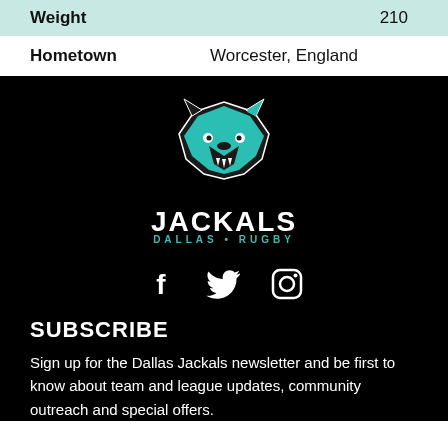| Weight | 210 |
| Hometown | Worcester, England |
[Figure (logo): Dallas Jackals rugby team logo: a teal jackal head facing right with black outline, with JACKALS in large white bold uppercase text and DALLAS•RUGBY in teal smaller text below]
[Figure (infographic): Three social media icons in white: Facebook (f), Twitter (bird), Instagram (camera)]
SUBSCRIBE
Sign up for the Dallas Jackals newsletter and be first to know about team and league updates, community outreach and special offers.